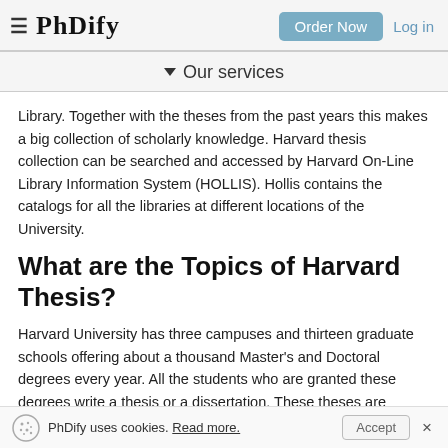PhDify — Order Now | Log in
▾ Our services
Library. Together with the theses from the past years this makes a big collection of scholarly knowledge. Harvard thesis collection can be searched and accessed by Harvard On-Line Library Information System (HOLLIS). Hollis contains the catalogs for all the libraries at different locations of the University.
What are the Topics of Harvard Thesis?
Harvard University has three campuses and thirteen graduate schools offering about a thousand Master's and Doctoral degrees every year. All the students who are granted these degrees write a thesis or a dissertation. These theses are written on the topics selected from the
PhDify uses cookies. Read more. Accept ×